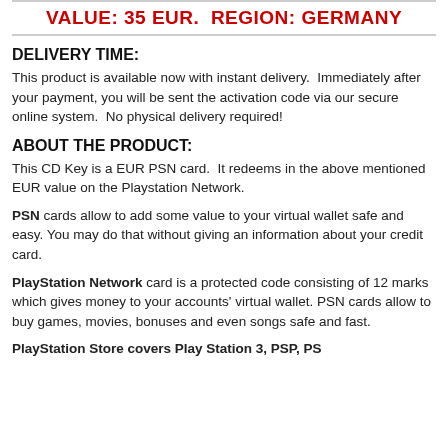VALUE: 35 EUR.  REGION: GERMANY
DELIVERY TIME:
This product is available now with instant delivery.  Immediately after your payment, you will be sent the activation code via our secure online system.  No physical delivery required!
ABOUT THE PRODUCT:
This CD Key is a EUR PSN card.  It redeems in the above mentioned EUR value on the Playstation Network.
PSN cards allow to add some value to your virtual wallet safe and easy. You may do that without giving an information about your credit card.
PlayStation Network card is a protected code consisting of 12 marks which gives money to your accounts' virtual wallet. PSN cards allow to buy games, movies, bonuses and even songs safe and fast.
PlayStation Store covers Play Station 3, PSP, PS